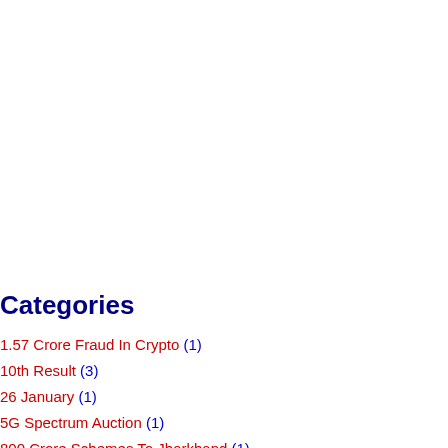Categories
1.57 Crore Fraud In Crypto (1)
10th Result (3)
26 January (1)
5G Spectrum Auction (1)
800 Crore Schemes To Jharkhand (1)